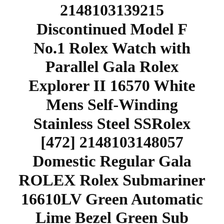2148103139215 Discontinued Model F No.1 Rolex Watch with Parallel Gala Rolex Explorer II 16570 White Mens Self-Winding Stainless Steel SSRolex [472] 2148103148057 Domestic Regular Gala ROLEX Rolex Submariner 16610LV Green Automatic Lime Bezel Green Sub Black SS 300m